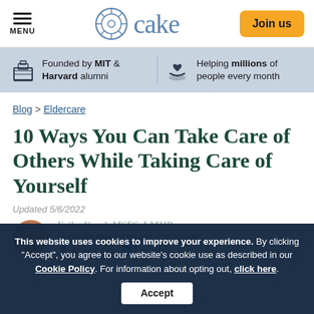MENU | cake | Join us
Founded by MIT & Harvard alumni | Helping millions of people every month
Blog > Eldercare
10 Ways You Can Take Care of Others While Taking Care of Yourself
Updated 5/6/2022
This website uses cookies to improve your experience. By clicking "Accept", you agree to our website's cookie use as described in our Cookie Policy. For information about opting out, click here.
Licensed Mental Health Practitioner
Author bio  Follow